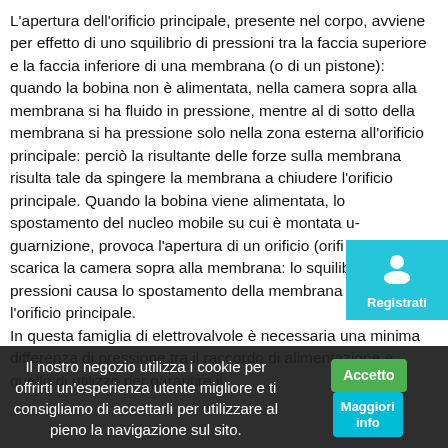L'apertura dell'orificio principale, presente nel corpo, avviene per effetto di uno squilibrio di pressioni tra la faccia superiore e la faccia inferiore di una membrana (o di un pistone): quando la bobina non è alimentata, nella camera sopra alla membrana si ha fluido in pressione, mentre al di sotto della membrana si ha pressione solo nella zona esterna all'orificio principale: perciò la risultante delle forze sulla membrana risulta tale da spingere la membrana a chiudere l'orificio principale. Quando la bobina viene alimentata, lo spostamento del nucleo mobile su cui è montata una guarnizione, provoca l'apertura di un orificio (orificio pilota) e scarica la camera sopra alla membrana: lo squilibrio di pressioni causa lo spostamento della membrana che apre l'orificio principale. In questa famiglia di elettrovalvole è necessaria una minima differenza di pressione tra il raccordo di alimentazione e quello di utilizzo per garantire il funzionamento… pressione tra le elettrovalvole 2 vipie… quando diretto, causa un…
[Figure (other): Registration popup button with person icon and label 'Registrati' on cyan background]
Il nostro negozio utilizza i cookie per offrirti un'esperienza utente migliore e ti consigliamo di accettarli per utilizzare al pieno la navigazione sul sito.